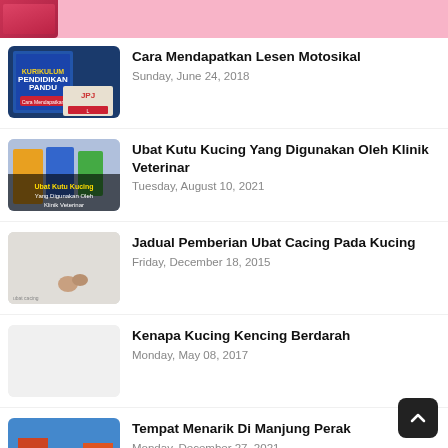Cara Mendapatkan Lesen Motosikal
Sunday, June 24, 2018
Ubat Kutu Kucing Yang Digunakan Oleh Klinik Veterinar
Tuesday, August 10, 2021
Jadual Pemberian Ubat Cacing Pada Kucing
Friday, December 18, 2015
Kenapa Kucing Kencing Berdarah
Monday, May 08, 2017
Tempat Menarik Di Manjung Perak
Monday, December 27, 2021